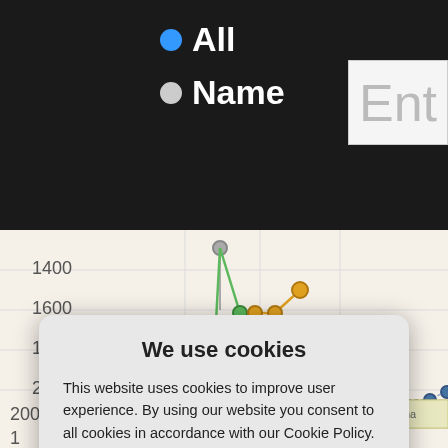[Figure (screenshot): Website screenshot showing radio buttons 'All' (blue selected) and 'Name' (white) on dark background, with partial 'Ent' text input box visible on right]
[Figure (line-chart): Popularity rank chart with y-axis labels 1400, 1600, 1800, 2000, x-axis showing years around 1880-2003, multiple colored lines (green, yellow, gray, blue) with data points plotted]
We use cookies
This website uses cookies to improve user experience. By using our website you consent to all cookies in accordance with our Cookie Policy.
Yes I agree
I disagree
Read more
Free cookie consent by cookie-script.com